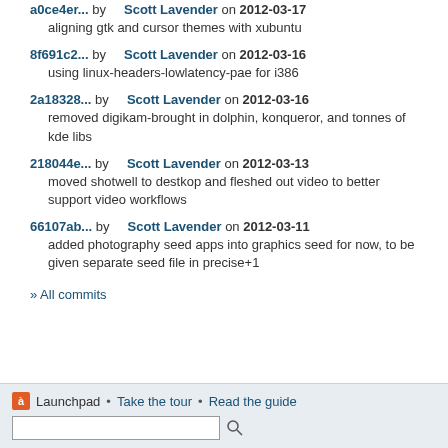a0ce4er... by Scott Lavender on 2012-03-17
aligning gtk and cursor themes with xubuntu
8f691c2... by Scott Lavender on 2012-03-16
using linux-headers-lowlatency-pae for i386
2a18328... by Scott Lavender on 2012-03-16
removed digikam-brought in dolphin, konqueror, and tonnes of kde libs
218044e... by Scott Lavender on 2012-03-13
moved shotwell to destkop and fleshed out video to better support video workflows
66107ab... by Scott Lavender on 2012-03-11
added photography seed apps into graphics seed for now, to be given separate seed file in precise+1
» All commits
Launchpad • Take the tour • Read the guide [search box]